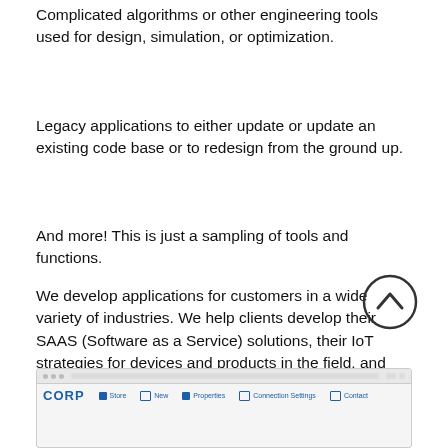Complicated algorithms or other engineering tools used for design, simulation, or optimization.
Legacy applications to either update or update an existing code base or to redesign from the ground up.
And more! This is just a sampling of tools and functions.
We develop applications for customers in a wide variety of industries. We help clients develop their SAAS (Software as a Service) solutions, their IoT strategies for devices and products in the field, and their end user software tools.
[Figure (screenshot): Screenshot of a CORP application interface showing navigation bar with CORP logo and menu items.]